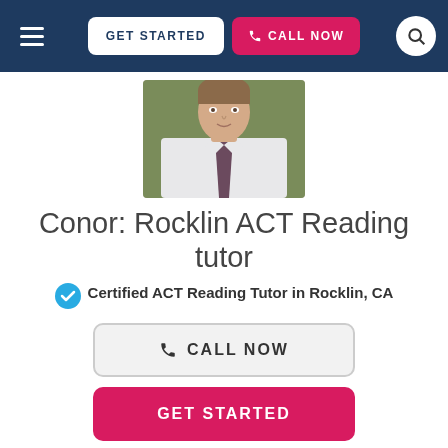GET STARTED | CALL NOW
[Figure (photo): Profile photo of Conor, a male tutor wearing a white dress shirt and dark tie, photo cropped at chest level]
Conor: Rocklin ACT Reading tutor
✓ Certified ACT Reading Tutor in Rocklin, CA
CALL NOW
GET STARTED